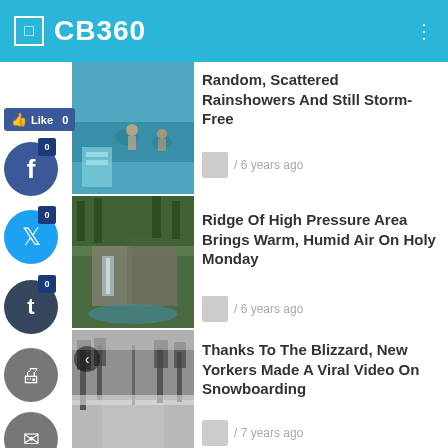CB360
[Figure (screenshot): Swimming pool with people, thumbnail for first article]
Random, Scattered Rainshowers And Still Storm-Free
/ 6 years ago
[Figure (photo): Aerial view of rocky coastline/waterfall, thumbnail for second article]
Ridge Of High Pressure Area Brings Warm, Humid Air On Holy Monday
/ 6 years ago
[Figure (photo): Snowy city street with trees, thumbnail for third article]
Thanks To The Blizzard, New Yorkers Made A Viral Video On Snowboarding
/ 7 years ago
0
Shares